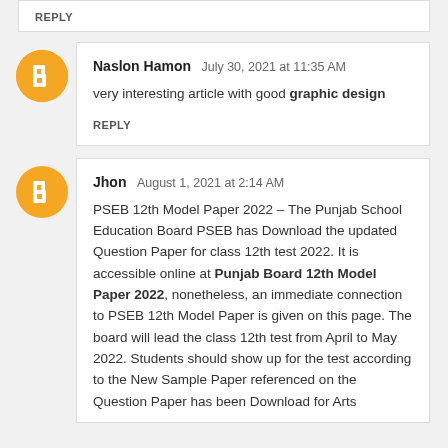REPLY
Naslon Hamon  July 30, 2021 at 11:35 AM
very interesting article with good graphic design
REPLY
Jhon  August 1, 2021 at 2:14 AM
PSEB 12th Model Paper 2022 – The Punjab School Education Board PSEB has Download the updated Question Paper for class 12th test 2022. It is accessible online at Punjab Board 12th Model Paper 2022, nonetheless, an immediate connection to PSEB 12th Model Paper is given on this page. The board will lead the class 12th test from April to May 2022. Students should show up for the test according to the New Sample Paper referenced on the Question Paper has been Download for Arts